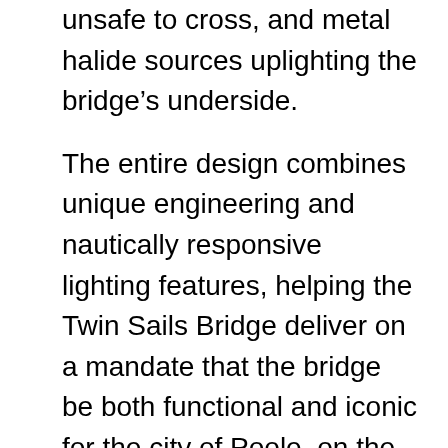unsafe to cross, and metal halide sources uplighting the bridge's underside.
The entire design combines unique engineering and nautically responsive lighting features, helping the Twin Sails Bridge deliver on a mandate that the bridge be both functional and iconic for the city of Poole, on the south shores of England in Great Britain, and the greater harbor area.
Designed by Wilkinson Eyre Architects, the 456-foot-long drawbridge, cut on a bias, spans an elbow-shaped strait and connects Poole to the town of Hamworthy. Read our